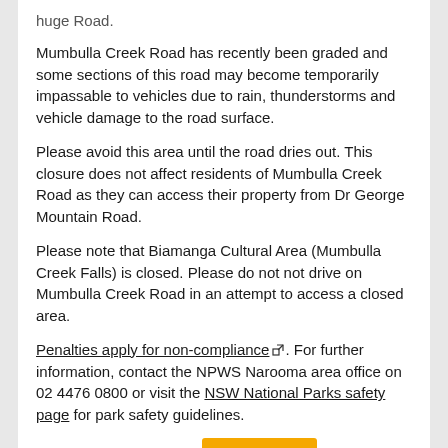huge Road.
Mumbulla Creek Road has recently been graded and some sections of this road may become temporarily impassable to vehicles due to rain, thunderstorms and vehicle damage to the road surface.
Please avoid this area until the road dries out. This closure does not affect residents of Mumbulla Creek Road as they can access their property from Dr George Mountain Road.
Please note that Biamanga Cultural Area (Mumbulla Creek Falls) is closed. Please do not not drive on Mumbulla Creek Road in an attempt to access a closed area.
Penalties apply for non-compliance. For further information, contact the NPWS Narooma area office on 02 4476 0800 or visit the NSW National Parks safety page for park safety guidelines.
Affects 2 parks nearby.
Applies from Tue 15 Mar 2022, 5.03pm. Last reviewed: Fri 22 Apr 2022, 12.17pm
Safety alerts: Mumbulla Creek Road - Access restricted
The section of the Mumbulla Creek Road road within 500m of